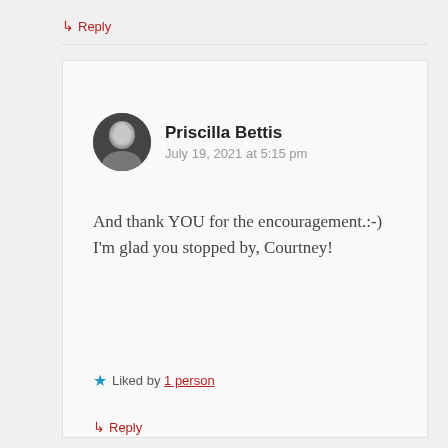↳ Reply
Priscilla Bettis
July 19, 2021 at 5:15 pm
And thank YOU for the encouragement.:-) I'm glad you stopped by, Courtney!
★ Liked by 1 person
↳ Reply